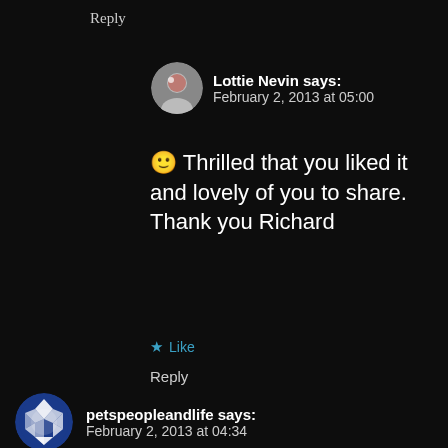Reply
Lottie Nevin says:
February 2, 2013 at 05:00
🙂 Thrilled that you liked it and lovely of you to share. Thank you Richard
★ Like
Reply
petspeopleandlife says:
February 2, 2013 at 04:34
wow-wow-wow!!! I would go el-nutso there. Antique typewriters, blue vases